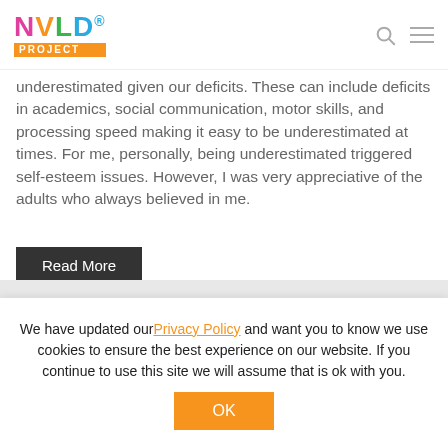NVLD PROJECT
underestimated given our deficits. These can include deficits in academics, social communication, motor skills, and processing speed making it easy to be underestimated at times. For me, personally, being underestimated triggered self-esteem issues. However, I was very appreciative of the adults who always believed in me.
Read More
We have updated our Privacy Policy and want you to know we use cookies to ensure the best experience on our website. If you continue to use this site we will assume that is ok with you.